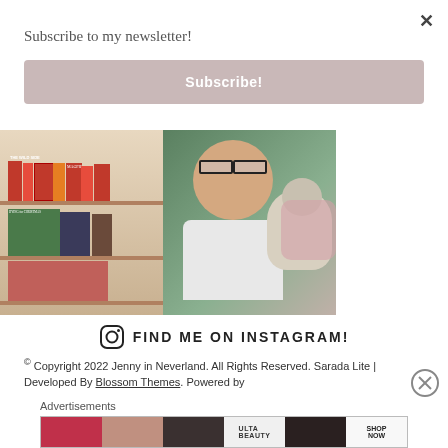×
Subscribe to my newsletter!
Subscribe!
[Figure (photo): Two-panel photo collage: left panel shows a bookshelf with books including 'The Wild Side', 'Magpie' by Elizabeth Day, and 'Dying for Christmas'; right panel shows a young woman with glasses holding a small white fluffy dog.]
FIND ME ON INSTAGRAM!
© Copyright 2022 Jenny in Neverland. All Rights Reserved. Sarada Lite | Developed By Blossom Themes. Powered by
Advertisements
[Figure (screenshot): Ulta Beauty advertisement banner showing makeup looks with red lips, eye makeup, and 'SHOP NOW' text.]